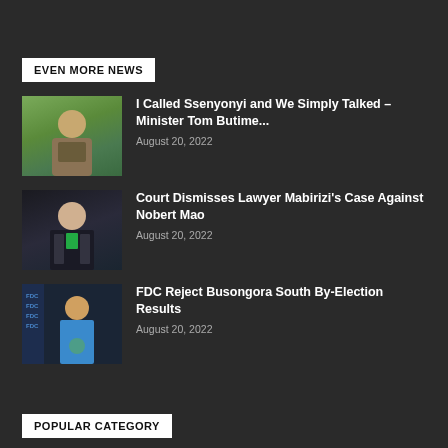EVEN MORE NEWS
I Called Ssenyonyi and We Simply Talked – Minister Tom Butime...
August 20, 2022
Court Dismisses Lawyer Mabirizi's Case Against Nobert Mao
August 20, 2022
FDC Reject Busongora South By-Election Results
August 20, 2022
POPULAR CATEGORY